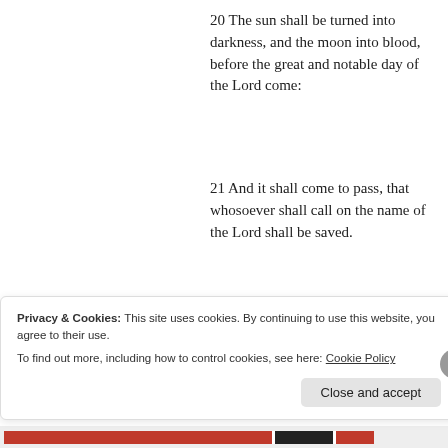20 The sun shall be turned into darkness, and the moon into blood, before the great and notable day of the Lord come:
21 And it shall come to pass, that whosoever shall call on the name of the Lord shall be saved.
22 Ye men of Israel, hear these words; Jesus of
Privacy & Cookies: This site uses cookies. By continuing to use this website, you agree to their use.
To find out more, including how to control cookies, see here: Cookie Policy
Close and accept